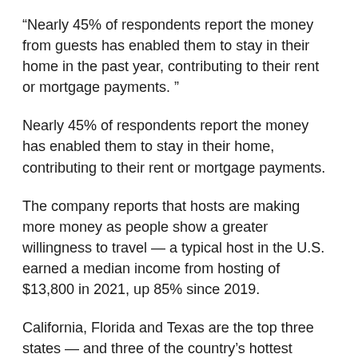“Nearly 45% of respondents report the money from guests has enabled them to stay in their home in the past year, contributing to their rent or mortgage payments.”
Nearly 45% of respondents report the money has enabled them to stay in their home, contributing to their rent or mortgage payments.
The company reports that hosts are making more money as people show a greater willingness to travel — a typical host in the U.S. earned a median income from hosting of $13,800 in 2021, up 85% since 2019.
California, Florida and Texas are the top three states — and three of the country’s hottest housing markets — where new